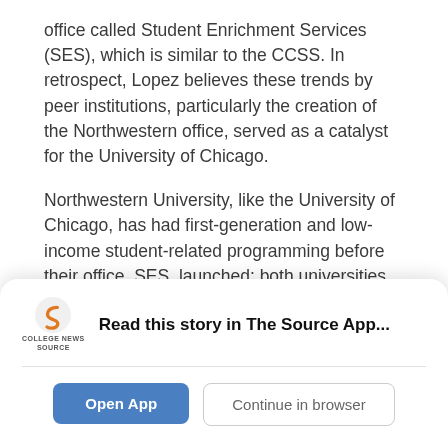office called Student Enrichment Services (SES), which is similar to the CCSS. In retrospect, Lopez believes these trends by peer institutions, particularly the creation of the Northwestern office, served as a catalyst for the University of Chicago.
Northwestern University, like the University of Chicago, has had first-generation and low-income student-related programming before their office, SES, launched: both universities have had special financial aid packages and a strong partnership with QuestBridge. However, according to the SES website, it was not until a group of Quest scholars at Northwestern shared
[Figure (logo): College News Source logo — stylized 'S' icon with text 'COLLEGE NEWS SOURCE' below]
Read this story in The Source App...
Open App
Continue in browser